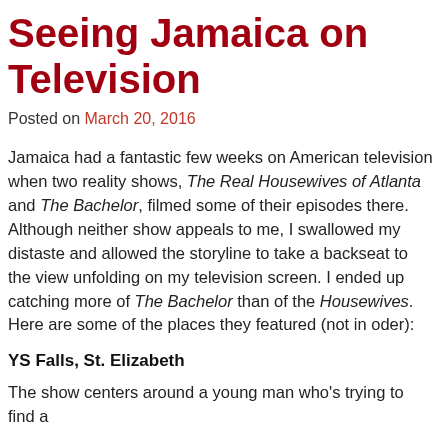Seeing Jamaica on Television
Posted on March 20, 2016
Jamaica had a fantastic few weeks on American television when two reality shows, The Real Housewives of Atlanta and The Bachelor, filmed some of their episodes there. Although neither show appeals to me, I swallowed my distaste and allowed the storyline to take a backseat to the view unfolding on my television screen. I ended up catching more of The Bachelor than of the Housewives. Here are some of the places they featured (not in oder):
YS Falls, St. Elizabeth
The show centers around a young man who's trying to find a